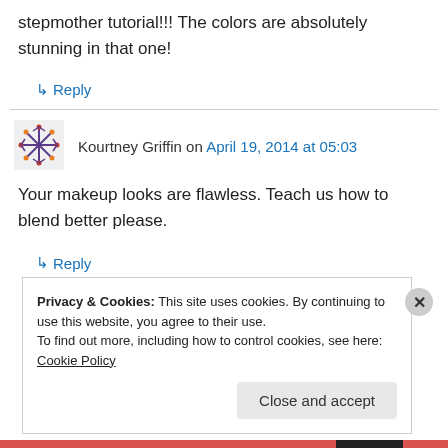stepmother tutorial!!! The colors are absolutely stunning in that one!
↳ Reply
Kourtney Griffin on April 19, 2014 at 05:03
Your makeup looks are flawless. Teach us how to blend better please.
↳ Reply
Privacy & Cookies: This site uses cookies. By continuing to use this website, you agree to their use.
To find out more, including how to control cookies, see here: Cookie Policy